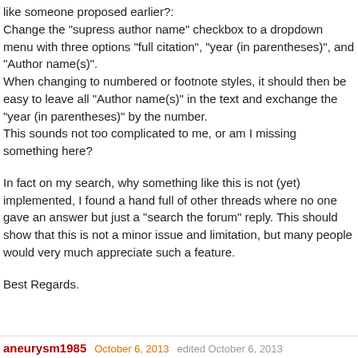like someone proposed earlier?:
Change the "supress author name" checkbox to a dropdown menu with three options "full citation", "year (in parentheses)", and "Author name(s)".
When changing to numbered or footnote styles, it should then be easy to leave all "Author name(s)" in the text and exchange the "year (in parentheses)" by the number.
This sounds not too complicated to me, or am I missing something here?
In fact on my search, why something like this is not (yet) implemented, I found a hand full of other threads where no one gave an answer but just a "search the forum" reply. This should show that this is not a minor issue and limitation, but many people would very much appreciate such a feature.
Best Regards.
aneurysm1985   October 6, 2013   edited October 6, 2013